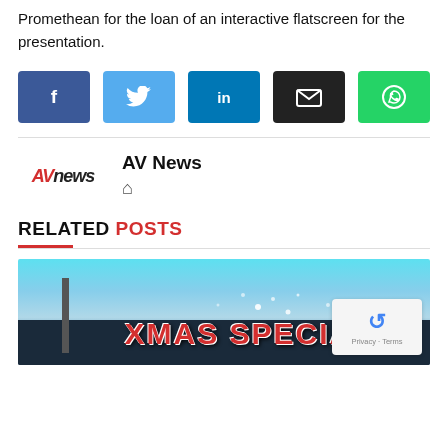Promethean for the loan of an interactive flatscreen for the presentation.
[Figure (infographic): Social share buttons: Facebook, Twitter, LinkedIn, Email, WhatsApp]
[Figure (logo): AVnews logo with home icon and author name AV News]
RELATED POSTS
[Figure (photo): XMAS SPECIAL banner image with city skyline at dusk and red XMAS SPECIAL text]